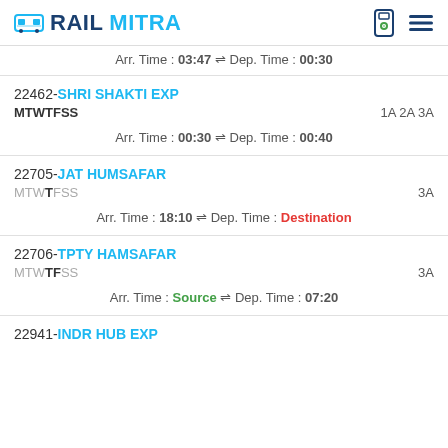RAILMITRA
Arr. Time : 03:47 ⇌ Dep. Time : 00:30
22462-SHRI SHAKTI EXP | MTWTFSS | 1A 2A 3A | Arr. Time : 00:30 ⇌ Dep. Time : 00:40
22705-JAT HUMSAFAR | MTWTFSS (Thursday active) | 3A | Arr. Time : 18:10 ⇌ Dep. Time : Destination
22706-TPTY HAMSAFAR | MTWTFSS (Friday active) | 3A | Arr. Time : Source ⇌ Dep. Time : 07:20
22941-INDR HUB EXP